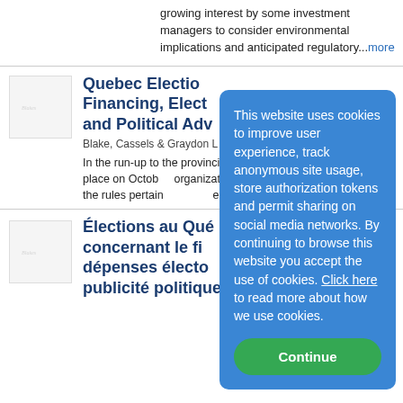growing interest by some investment managers to consider environmental implications and anticipated regulatory...more
[Figure (logo): Blake, Cassels & Graydon LLP logo thumbnail]
Quebec Election Financing, Election Advertising and Political Advertising
Blake, Cassels & Graydon LLP
In the run-up to the provincial election, which is set to take place on October, organizations are reminded of adhering to the rules pertaining to the election...more
[Figure (logo): Blake, Cassels & Graydon LLP logo thumbnail]
Élections au Québec : règles concernant le financement et les dépenses électorales, et la publicité politique
This website uses cookies to improve user experience, track anonymous site usage, store authorization tokens and permit sharing on social media networks. By continuing to browse this website you accept the use of cookies. Click here to read more about how we use cookies.
Continue